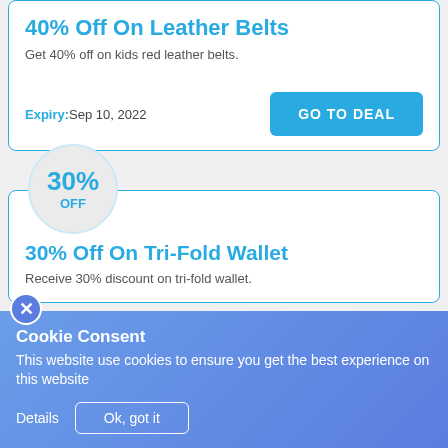40% Off On Leather Belts
Get 40% off on kids red leather belts.
Expiry: Sep 10, 2022
GO TO DEAL
[Figure (infographic): 30% OFF badge circle]
30% Off On Tri-Fold Wallet
Receive 30% discount on tri-fold wallet.
Cookie Consent
This website use cookies to ensure you get the best experience on this website
Details  Ok, got it